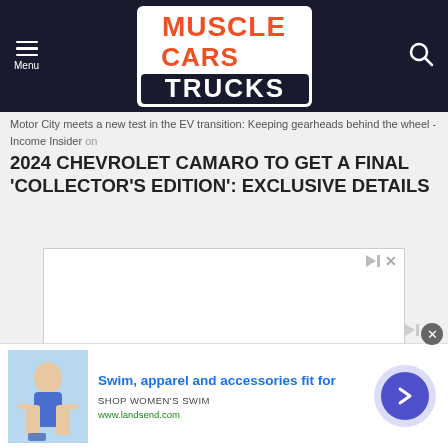Muscle Cars & Trucks
Motor City meets a new test in the EV transition: Keeping gearheads behind the wheel - Income Insider on
2024 CHEVROLET CAMARO TO GET A FINAL 'COLLECTOR'S EDITION': EXCLUSIVE DETAILS
[Figure (other): Advertisement placeholder box with play/close controls]
[Figure (other): Bottom banner advertisement for Lands' End swim apparel. Shows a woman in a swimsuit, text 'Swim, apparel and accessories fit for', 'SHOP WOMEN'S SWIM', 'www.landsend.com', with a blue arrow circle button.]